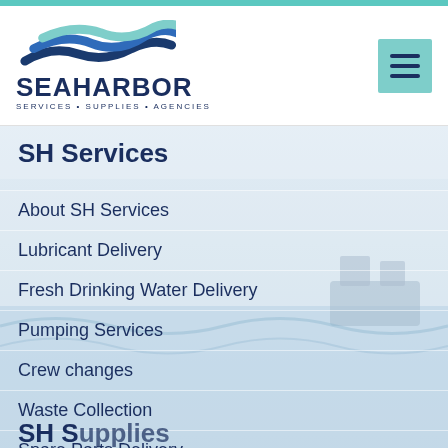[Figure (logo): Seaharbor logo with wave graphic above text SEAHARBOR and tagline SERVICES • SUPPLIES • AGENCIES]
SH Services
About SH Services
Lubricant Delivery
Fresh Drinking Water Delivery
Pumping Services
Crew changes
Waste Collection
Spare Parts Delivery
Provisions/Stores Delivery
Bilge Water Collection and Disposal
SH S...